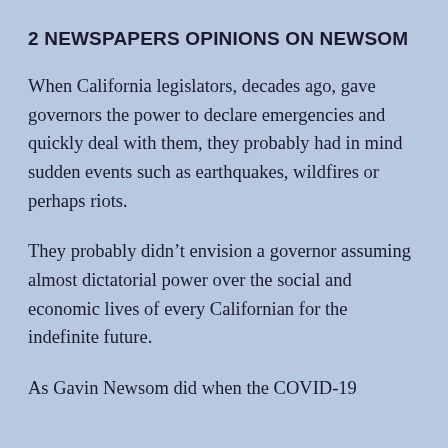2 NEWSPAPERS OPINIONS ON NEWSOM
When California legislators, decades ago, gave governors the power to declare emergencies and quickly deal with them, they probably had in mind sudden events such as earthquakes, wildfires or perhaps riots.
They probably didn’t envision a governor assuming almost dictatorial power over the social and economic lives of every Californian for the indefinite future.
As Gavin Newsom did when the COVID-19